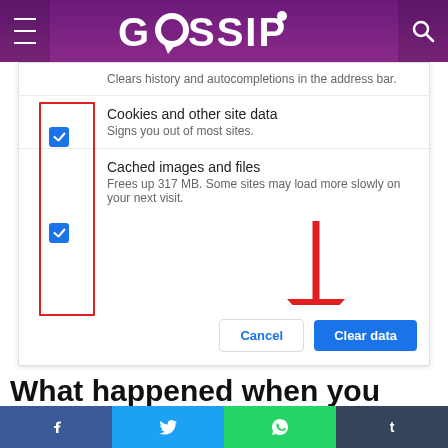GOSSIP
[Figure (screenshot): Chrome browser 'Clear browsing data' dialog showing checked checkboxes for 'Cookies and other site data' and 'Cached images and files', with Cancel and Clear data buttons, and a red arrow pointing to Clear data button. A red border highlights the two checkboxes.]
What happened when you cleared Cache?
As you cleared the cache in chrome, you will see the
[Figure (screenshot): Social media share bar with Facebook, Twitter, WhatsApp, and Tumblr buttons]